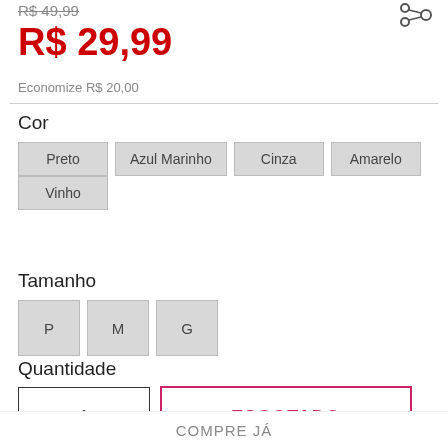R$ 49,99 (strikethrough old price)
R$ 29,99 (current price in red)
Economize R$ 20,00
Cor
Preto
Azul Marinho
Cinza
Amarelo
Vinho
Tamanho
P
M
G
Quantidade
- 1 +
ESGOTADO
COMPRE JÁ